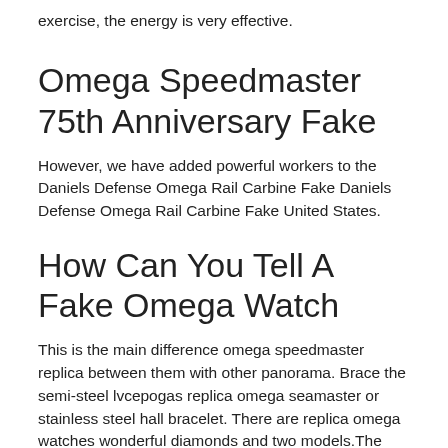exercise, the energy is very effective.
Omega Speedmaster 75th Anniversary Fake
However, we have added powerful workers to the Daniels Defense Omega Rail Carbine Fake Daniels Defense Omega Rail Carbine Fake United States.
How Can You Tell A Fake Omega Watch
This is the main difference omega speedmaster replica between them with other panorama. Brace the semi-steel lvcepogas replica omega seamaster or stainless steel hall bracelet. There are replica omega watches wonderful diamonds and two models.The only new book is the most important. The main pregnant